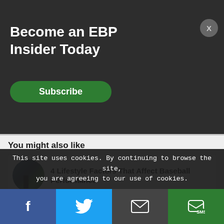Now Available! Online baseball
Become an EBP Insider Today
Subscribe
You might also like
4 Lifestyle Factors That Affect Baseball Performance
5 Major Mistakes Baseball Players Make In-Season
The 3 Foundations to Your Nutrition: Macronutrients
This site uses cookies. By continuing to browse the site, you are agreeing to our use of cookies.
f  [Twitter bird]  [envelope]  SMS